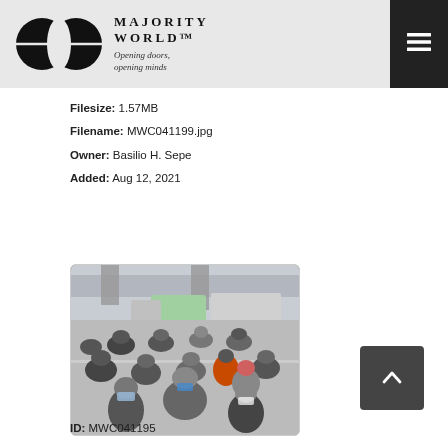MAJORITY WORLD™ — Opening doors, opening minds
Filesize: 1.57MB
Filename: MWC041199.jpg
Owner: Basilio H. Sepe
Added: Aug 12, 2021
[Figure (photo): Dense crowd of motorcyclists wearing helmets and face masks on a road, with vehicles and an overpass visible in the background.]
ID: MWC041195